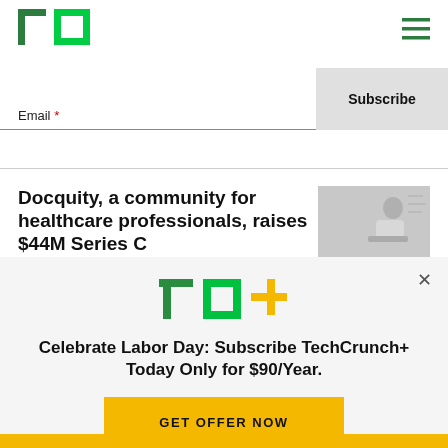TechCrunch logo and navigation menu
Email *
Subscribe
Docquity, a community for healthcare professionals, raises $44M Series C
[Figure (photo): Person sitting at a desk working on a laptop, viewed from a high angle]
[Figure (logo): TC+ logo with green TC letters and yellow plus sign]
Celebrate Labor Day: Subscribe TechCrunch+ Today Only for $90/Year.
GET OFFER NOW